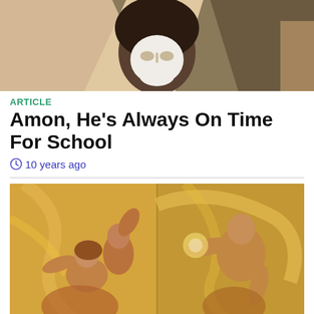[Figure (illustration): Animated character with mask/hood in brown and tan tones, close-up face view from below]
ARTICLE
Amon, He's Always On Time For School
10 years ago
[Figure (illustration): Two-panel animated illustration in sepia/gold tones showing action fighting scenes with characters in dynamic poses]